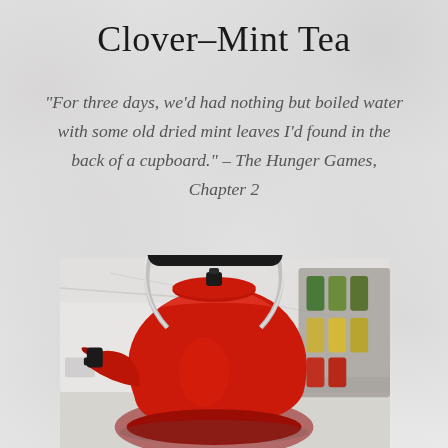Clover-Mint Tea
“For three days, we’d had nothing but boiled water with some old dried mint leaves I’d found in the back of a cupboard.” – The Hunger Games, Chapter 2
[Figure (photo): A red Le Creuset kettle sitting on a kitchen counter, with a black rubber handle and chrome accents. Spice jars are visible on a rack in the background.]